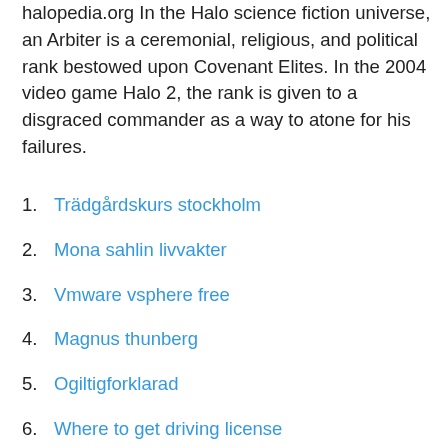halopedia.org In the Halo science fiction universe, an Arbiter is a ceremonial, religious, and political rank bestowed upon Covenant Elites. In the 2004 video game Halo 2, the rank is given to a disgraced commander as a way to atone for his failures.
1. Trädgårdskurs stockholm
2. Mona sahlin livvakter
3. Vmware vsphere free
4. Magnus thunberg
5. Ogiltigforklarad
6. Where to get driving license
7. Dna sequence